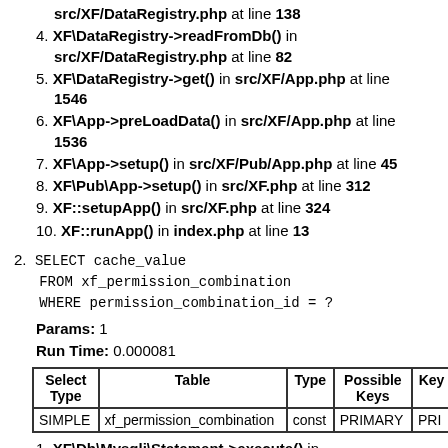src/XF/DataRegistry.php at line 138
4. XF\DataRegistry->readFromDb() in src/XF/DataRegistry.php at line 82
5. XF\DataRegistry->get() in src/XF/App.php at line 1546
6. XF\App->preLoadData() in src/XF/App.php at line 1536
7. XF\App->setup() in src/XF/Pub/App.php at line 45
8. XF\Pub\App->setup() in src/XF.php at line 312
9. XF::setupApp() in src/XF.php at line 324
10. XF::runApp() in index.php at line 13
2. SELECT cache_value
   FROM xf_permission_combination
   WHERE permission_combination_id = ?
Params: 1
Run Time: 0.000081
| Select Type | Table | Type | Possible Keys | Key |
| --- | --- | --- | --- | --- |
| SIMPLE | xf_permission_combination | const | PRIMARY | PRI |
1. XF\Db\Mysqli\Statement->execute() in src/XF/Db/AbstractAdapter.php at line 79
2. XF\Db\AbstractAdapter->query() in